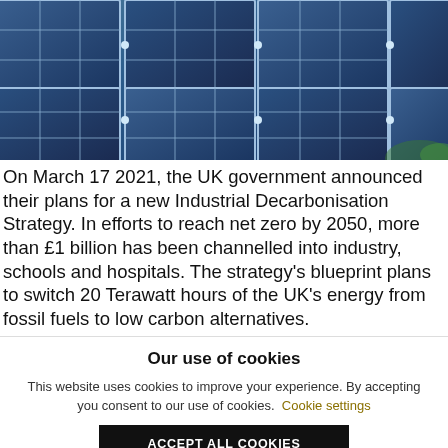[Figure (photo): Aerial/close-up view of blue solar panels reflecting light, arranged in a grid pattern with metallic frames]
On March 17 2021, the UK government announced their plans for a new Industrial Decarbonisation Strategy. In efforts to reach net zero by 2050, more than £1 billion has been channelled into industry, schools and hospitals. The strategy's blueprint plans to switch 20 Terawatt hours of the UK's energy from fossil fuels to low carbon alternatives.
Our use of cookies
This website uses cookies to improve your experience. By accepting you consent to our use of cookies. Cookie settings
ACCEPT ALL COOKIES
For more detailed information, please check our Privacy Policy and Cookie
Can't find what you are looking for?